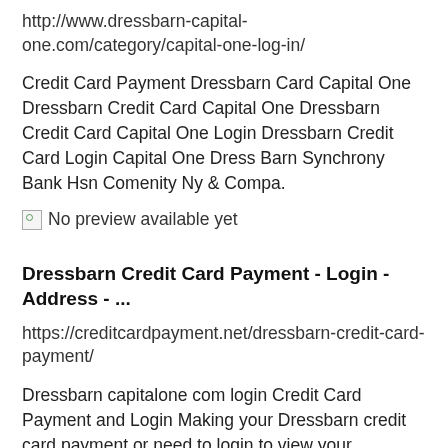http://www.dressbarn-capital-one.com/category/capital-one-log-in/
Credit Card Payment Dressbarn Card Capital One Dressbarn Credit Card Capital One Dressbarn Credit Card Capital One Login Dressbarn Credit Card Login Capital One Dress Barn Synchrony Bank Hsn Comenity Ny & Compa.
[Figure (other): Broken image placeholder with text 'No preview available yet']
Dressbarn Credit Card Payment - Login - Address - ...
https://creditcardpayment.net/dressbarn-credit-card-payment/
Dressbarn capitalone com login Credit Card Payment and Login Making your Dressbarn credit card payment or need to login to view your statement on...